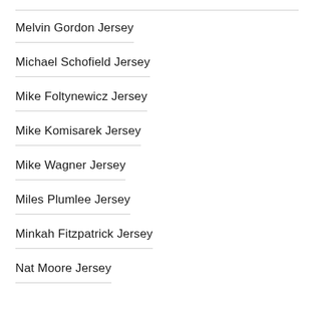Melvin Gordon Jersey
Michael Schofield Jersey
Mike Foltynewicz Jersey
Mike Komisarek Jersey
Mike Wagner Jersey
Miles Plumlee Jersey
Minkah Fitzpatrick Jersey
Nat Moore Jersey